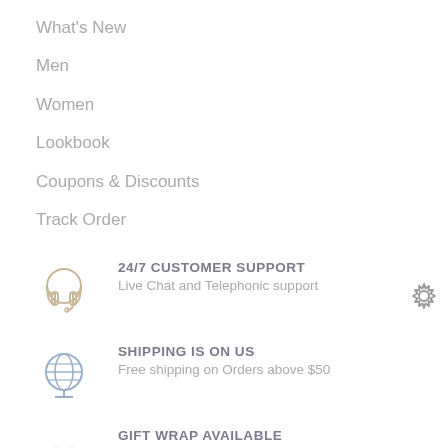What's New
Men
Women
Lookbook
Coupons & Discounts
Track Order
[Figure (illustration): Headphone/headset icon in light tan/gold color]
24/7 CUSTOMER SUPPORT
Live Chat and Telephonic support
[Figure (illustration): Globe/world icon in blue-gray color]
SHIPPING IS ON US
Free shipping on Orders above $50
[Figure (illustration): Gift box icon in purple/blue color]
GIFT WRAP AVAILABLE
For all orders that can be shipped
[Figure (illustration): Gear/settings icon in gray color, top right corner]